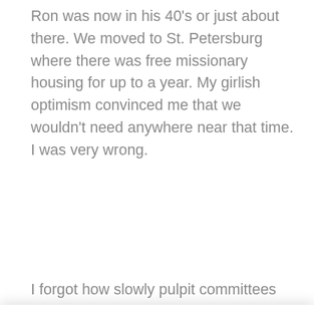Ron was now in his 40's or just about there. We moved to St. Petersburg where there was free missionary housing for up to a year. My girlish optimism convinced me that we wouldn't need anywhere near that time. I was very wrong.
I forgot how slowly pulpit committees work
Manage Cookie Consent
To provide the best experiences, we use technologies like cookies to store and/or access device information. Consenting to these technologies will allow us to process data such as browsing behavior or unique IDs on this site. Not consenting or withdrawing consent, may adversely affect certain features and functions.
Accept